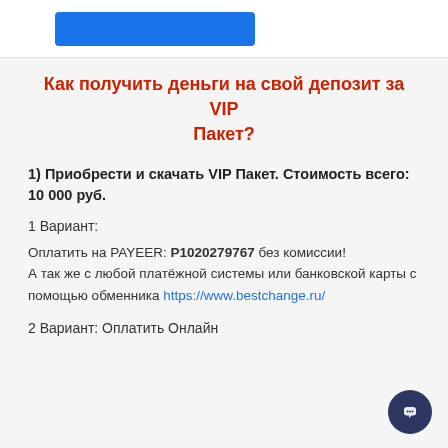[Figure (other): Blue button/banner at top of page]
Как получить деньги на свой депозит за VIP Пакет?
1) Приобрести и скачать VIP Пакет. Стоимость всего: 10 000 руб.
1 Вариант:
Оплатить на PAYEER: P1020279767 без комиссии!
А так же с любой платёжной системы или банковской карты с помощью обменника https://www.bestchange.ru/
2 Вариант: Оплатить Онлайн